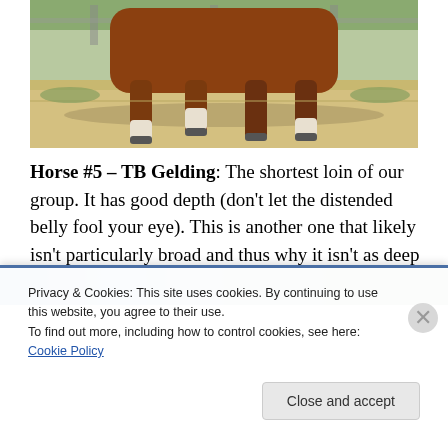[Figure (photo): Partial photograph of a chestnut horse showing its legs and lower body, standing on a paved surface with grass and fence in background]
Horse #5 – TB Gelding: The shortest loin of our group. It has good depth (don't let the distended belly fool your eye). This is another one that likely isn't particularly broad and thus why it isn't as deep relative to the shortness.
Privacy & Cookies: This site uses cookies. By continuing to use this website, you agree to their use.
To find out more, including how to control cookies, see here: Cookie Policy